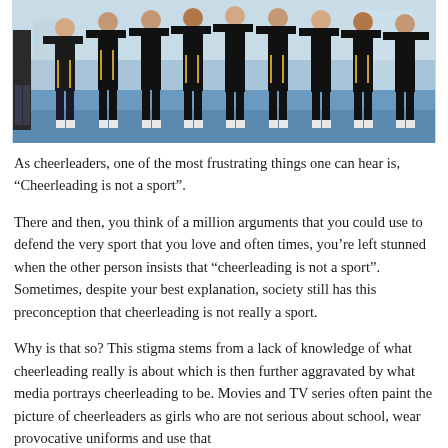[Figure (photo): Group of cheerleaders in black and gold uniforms standing together on a blue gym floor, shot from the waist down showing legs and shoes.]
As cheerleaders, one of the most frustrating things one can hear is, “Cheerleading is not a sport”.
There and then, you think of a million arguments that you could use to defend the very sport that you love and often times, you’re left stunned when the other person insists that “cheerleading is not a sport”. Sometimes, despite your best explanation, society still has this preconception that cheerleading is not really a sport.
Why is that so? This stigma stems from a lack of knowledge of what cheerleading really is about which is then further aggravated by what media portrays cheerleading to be. Movies and TV series often paint the picture of cheerleaders as girls who are not serious about school, wear provocative uniforms and use that